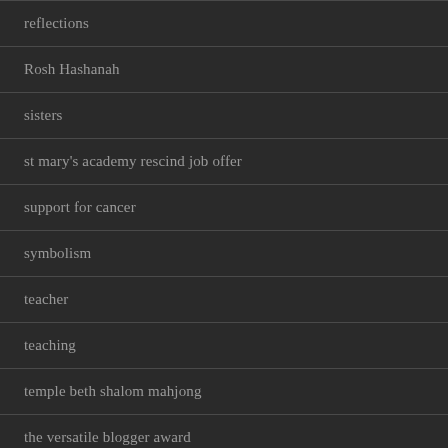reflections
Rosh Hashanah
sisters
st mary's academy rescind job offer
support for cancer
symbolism
teacher
teaching
temple beth shalom mahjong
the versatile blogger award